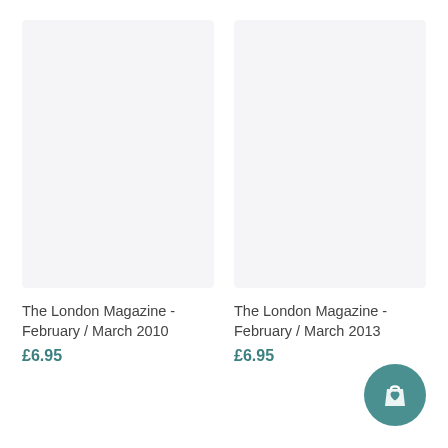[Figure (illustration): Product image placeholder for The London Magazine - February / March 2010, light grey rectangle]
The London Magazine - February / March 2010
£6.95
[Figure (illustration): Product image placeholder for The London Magazine - February / March 2013, light grey rectangle]
The London Magazine - February / March 2013
£6.95
[Figure (other): Teal circular shopping bag with heart icon button in bottom right corner]